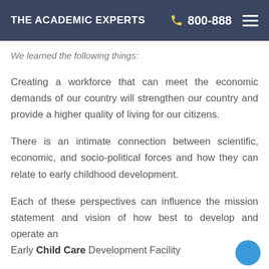THE ACADEMIC EXPERTS   800-888
We learned the following things:
Creating a workforce that can meet the economic demands of our country will strengthen our country and provide a higher quality of living for our citizens.
There is an intimate connection between scientific, economic, and socio-political forces and how they can relate to early childhood development.
Each of these perspectives can influence the mission statement and vision of how best to develop and operate an Early Child Care Development Facility